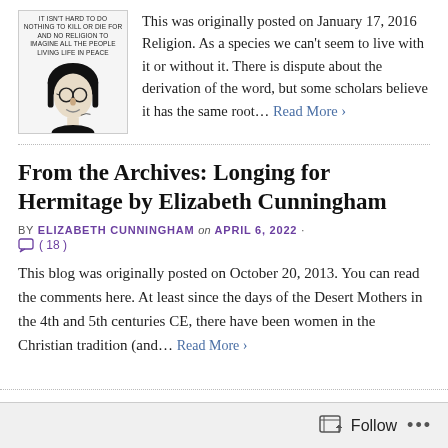[Figure (photo): Black and white image of a person (John Lennon style) with text at top reading 'IT ISN'T HARD TO DO NOTHING TO KILL OR DIE FOR AND NO RELIGION TOO IMAGINE ALL THE PEOPLE LIVING LIFE IN PEACE']
This was originally posted on January 17, 2016 Religion. As a species we can't seem to live with it or without it. There is dispute about the derivation of the word, but some scholars believe it has the same root… Read More ›
From the Archives: Longing for Hermitage by Elizabeth Cunningham
BY ELIZABETH CUNNINGHAM on APRIL 6, 2022 · ( 18 )
This blog was originally posted on October 20, 2013. You can read the comments here. At least since the days of the Desert Mothers in the 4th and 5th centuries CE, there have been women in the Christian tradition (and… Read More ›